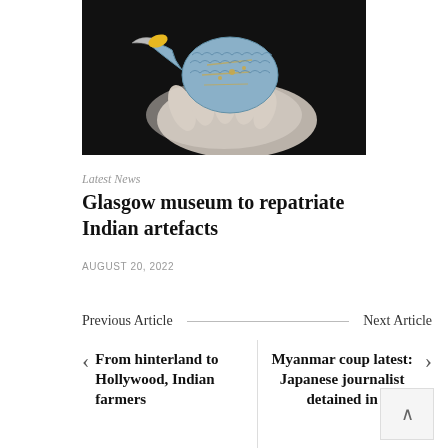[Figure (photo): A gloved hand holding a decorative bird-shaped artefact with intricate patterns on a dark background]
Latest News
Glasgow museum to repatriate Indian artefacts
AUGUST 20, 2022
Previous Article
Next Article
From hinterland to Hollywood, Indian farmers
Myanmar coup latest: Japanese journalist detained in